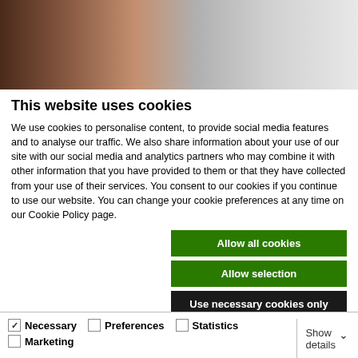[Figure (photo): Blurred/defocused header photo strip with warm brown and grey tones]
This website uses cookies
We use cookies to personalise content, to provide social media features and to analyse our traffic. We also share information about your use of our site with our social media and analytics partners who may combine it with other information that you have provided to them or that they have collected from your use of their services. You consent to our cookies if you continue to use our website. You can change your cookie preferences at any time on our Cookie Policy page.
Allow all cookies
Allow selection
Use necessary cookies only
Necessary   Preferences   Statistics   Marketing   Show details